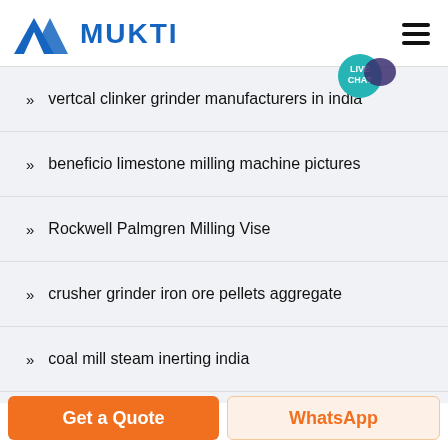[Figure (logo): Mukti logo with blue triangular M shape and bold blue MUKTI text]
vertcal clinker grinder manufacturers in india
beneficio limestone milling machine pictures
Rockwell Palmgren Milling Vise
crusher grinder iron ore pellets aggregate
coal mill steam inerting india
calcium carbonate milling machine
Get a Quote
WhatsApp